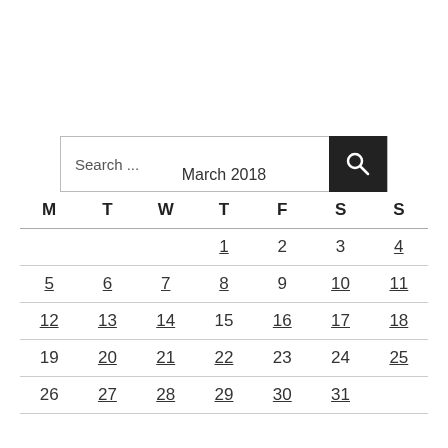[Figure (other): Search bar with text 'Search ...' and a dark search button with magnifying glass icon]
| M | T | W | T | F | S | S |
| --- | --- | --- | --- | --- | --- | --- |
|  |  |  | 1 | 2 | 3 | 4 |
| 5 | 6 | 7 | 8 | 9 | 10 | 11 |
| 12 | 13 | 14 | 15 | 16 | 17 | 18 |
| 19 | 20 | 21 | 22 | 23 | 24 | 25 |
| 26 | 27 | 28 | 29 | 30 | 31 |  |